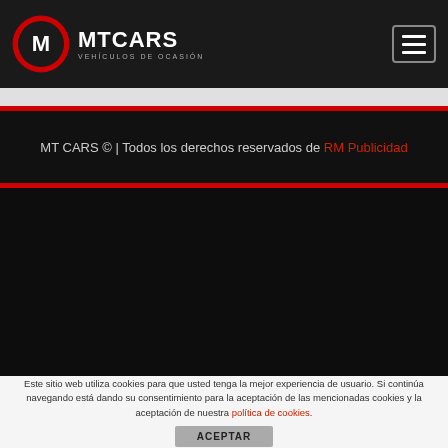MT CARS VEHÍCULOS DE OCASIÓN
MT CARS © | Todos los derechos reservados de RM Publicidad
Este sitio web utiliza cookies para que usted tenga la mejor experiencia de usuario. Si continúa navegando está dando su consentimiento para la aceptación de las mencionadas cookies y la aceptación de nuestra política de cookies.
ACEPTAR